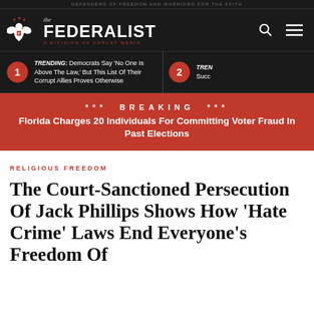DEFENDERS OF FREEDOM AND WARRIORS FOR THE FAITH
[Figure (logo): The Federalist logo with eagle emblem and tagline 'A Division of FDRLST Media']
TRENDING: Democrats Say 'No One Is Above The Law,' But This List Of Their Corrupt Allies Proves Otherwise
2 TREN Succ
*** BREAKING *** Florida Charges 20 Individuals For Committing Voter Fraud In Past Elections
RELIGIOUS FREEDOM
The Court-Sanctioned Persecution Of Jack Phillips Shows How 'Hate Crime' Laws End Everyone's Freedom Of